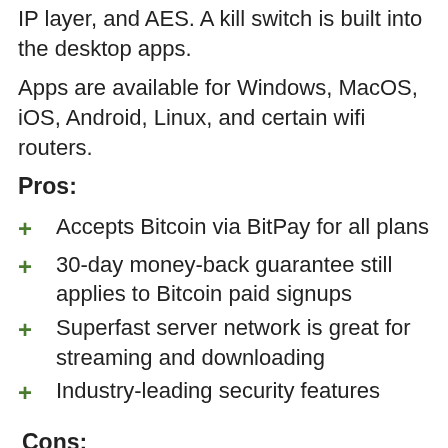IP layer, and AES. A kill switch is built into the desktop apps.
Apps are available for Windows, MacOS, iOS, Android, Linux, and certain wifi routers.
Pros:
Accepts Bitcoin via BitPay for all plans
30-day money-back guarantee still applies to Bitcoin paid signups
Superfast server network is great for streaming and downloading
Industry-leading security features
Cons:
Not the cheapest provider here